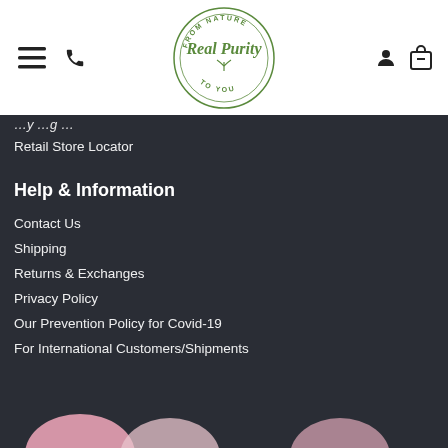[Figure (logo): Real Purity logo — circular badge reading 'FROM NATURE TO YOU' around a script 'Real Purity' text with leaf graphic]
Retail Store Locator
Help & Information
Contact Us
Shipping
Returns & Exchanges
Privacy Policy
Our Prevention Policy for Covid-19
For International Customers/Shipments